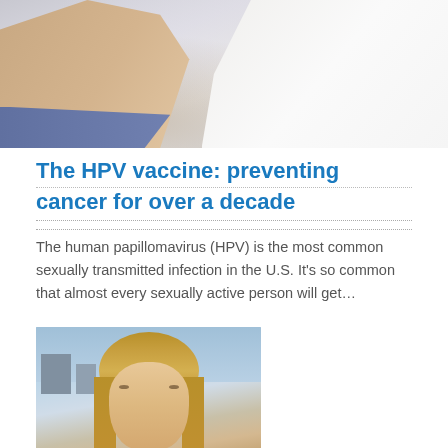[Figure (photo): Close-up photo of a person's arm receiving a vaccination or injection, with white shirt visible in background, outdoors setting]
The HPV vaccine: preventing cancer for over a decade
The human papillomavirus (HPV) is the most common sexually transmitted infection in the U.S. It's so common that almost every sexually active person will get…
[Figure (photo): Portrait photo of a blonde woman outdoors with buildings visible in the background]